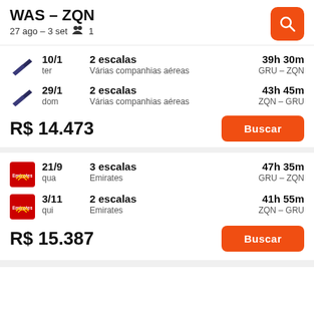WAS – ZQN
27 ago – 3 set   1
10/1 ter | 2 escalas | Várias companhias aéreas | 39h 30m | GRU – ZQN
29/1 dom | 2 escalas | Várias companhias aéreas | 43h 45m | ZQN – GRU
R$ 14.473
Buscar
21/9 qua | 3 escalas | Emirates | 47h 35m | GRU – ZQN
3/11 qui | 2 escalas | Emirates | 41h 55m | ZQN – GRU
R$ 15.387
Buscar